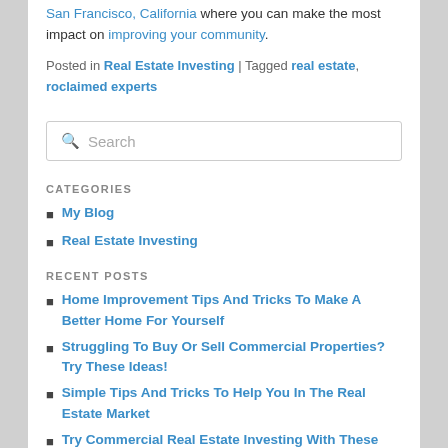San Francisco, California where you can make the most impact on improving your community.
Posted in Real Estate Investing | Tagged real estate, roclaimed experts
Search
CATEGORIES
My Blog
Real Estate Investing
RECENT POSTS
Home Improvement Tips And Tricks To Make A Better Home For Yourself
Struggling To Buy Or Sell Commercial Properties? Try These Ideas!
Simple Tips And Tricks To Help You In The Real Estate Market
Try Commercial Real Estate Investing With These